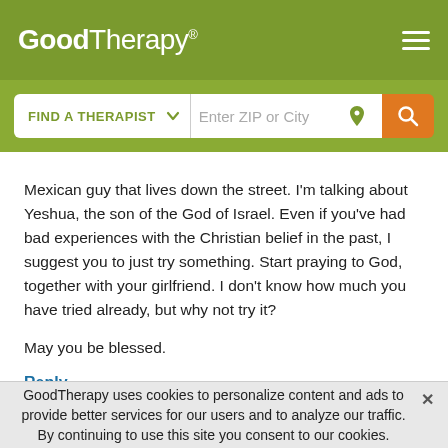GoodTherapy®
FIND A THERAPIST   Enter ZIP or City
Mexican guy that lives down the street. I'm talking about Yeshua, the son of the God of Israel. Even if you've had bad experiences with the Christian belief in the past, I suggest you to just try something. Start praying to God, together with your girlfriend. I don't know how much you have tried already, but why not try it?
May you be blessed.
Reply
GoodTherapy uses cookies to personalize content and ads to provide better services for our users and to analyze our traffic. By continuing to use this site you consent to our cookies.